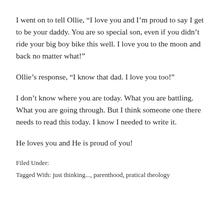I went on to tell Ollie, “I love you and I’m proud to say I get to be your daddy. You are so special son, even if you didn’t ride your big boy bike this well. I love you to the moon and back no matter what!”
Ollie’s response, “I know that dad. I love you too!”
I don’t know where you are today. What you are battling. What you are going through. But I think someone one there needs to read this today. I know I needed to write it.
He loves you and He is proud of you!
Filed Under:
Tagged With: just thinking..., parenthood, pratical theology